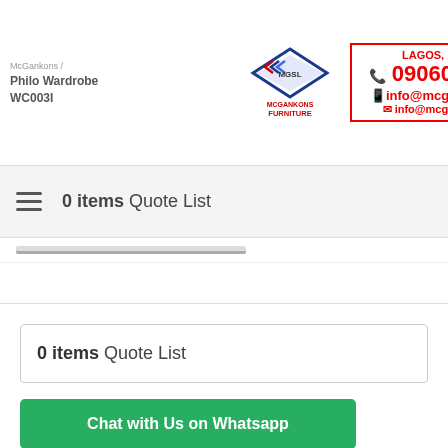[Figure (logo): McGankons Furniture logo with MGSL diamond shape and text, Lagos Nigeria contact info box with phone 09060006682 and email info@mcgankons.com]
0 items Quote List
0 items Quote List
Chat with Us on Whatsapp
CONTACT US
Call Us Now